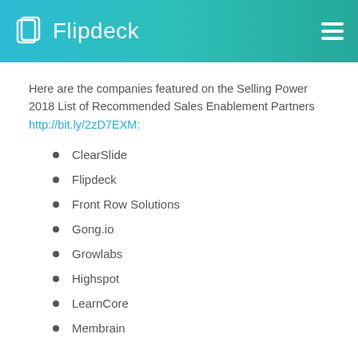Flipdeck
Here are the companies featured on the Selling Power 2018 List of Recommended Sales Enablement Partners http://bit.ly/2zD7EXM:
ClearSlide
Flipdeck
Front Row Solutions
Gong.io
Growlabs
Highspot
LearnCore
Membrain